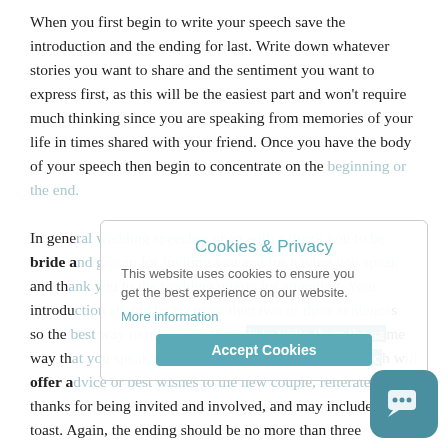When you first begin to write your speech save the introduction and the ending for last. Write down whatever stories you want to share and the sentiment you want to express first, as this will be the easiest part and won't require much thinking since you are speaking from memories of your life in times shared with your friend. Once you have the body of your speech then begin to concentrate on the beginning or the end.
In general wedding speeches open with a thank you to be bride and groom for inviting you and for having you speak and thank you to the wedding guests for attending. Your introduction should be no more then two or three sentences so the best way to memorize them is to write them the same way that you speak naturally. The ending of your speech will offer advice or best wishes to the new couple, reiterate your thanks for being invited and involved, and may include a toast. Again, the ending should be no more than three sentences, which will make it easy for you to memorise.
[Figure (other): Cookie & Privacy overlay popup with title 'Cookies & Privacy', body text 'This website uses cookies to ensure you get the best experience on our website.', a 'More information' link, and an 'Accept Cookies' button in teal.]